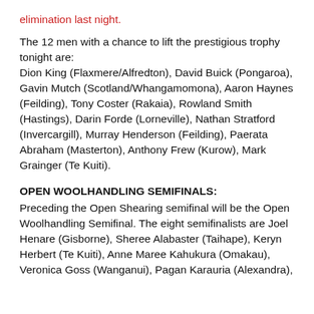elimination last night.
The 12 men with a chance to lift the prestigious trophy tonight are: Dion King (Flaxmere/Alfredton), David Buick (Pongaroa), Gavin Mutch (Scotland/Whangamomona), Aaron Haynes (Feilding), Tony Coster (Rakaia), Rowland Smith (Hastings), Darin Forde (Lorneville), Nathan Stratford (Invercargill), Murray Henderson (Feilding), Paerata Abraham (Masterton), Anthony Frew (Kurow), Mark Grainger (Te Kuiti).
OPEN WOOLHANDLING SEMIFINALS:
Preceding the Open Shearing semifinal will be the Open Woolhandling Semifinal. The eight semifinalists are Joel Henare (Gisborne), Sheree Alabaster (Taihape), Keryn Herbert (Te Kuiti), Anne Maree Kahukura (Omakau), Veronica Goss (Wanganui), Pagan Karauria (Alexandra),